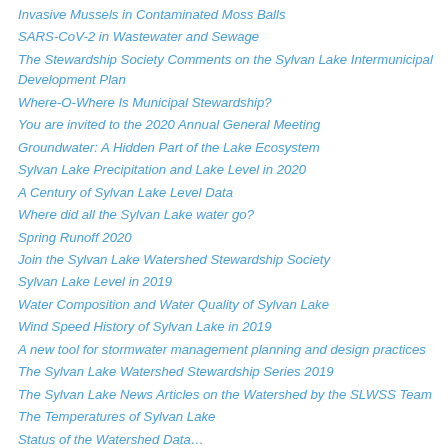Invasive Mussels in Contaminated Moss Balls
SARS-CoV-2 in Wastewater and Sewage
The Stewardship Society Comments on the Sylvan Lake Intermunicipal Development Plan
Where-O-Where Is Municipal Stewardship?
You are invited to the 2020 Annual General Meeting
Groundwater: A Hidden Part of the Lake Ecosystem
Sylvan Lake Precipitation and Lake Level in 2020
A Century of Sylvan Lake Level Data
Where did all the Sylvan Lake water go?
Spring Runoff 2020
Join the Sylvan Lake Watershed Stewardship Society
Sylvan Lake Level in 2019
Water Composition and Water Quality of Sylvan Lake
Wind Speed History of Sylvan Lake in 2019
A new tool for stormwater management planning and design practices
The Sylvan Lake Watershed Stewardship Series 2019
The Sylvan Lake News Articles on the Watershed by the SLWSS Team
The Temperatures of Sylvan Lake
Status of the Watershed Data…